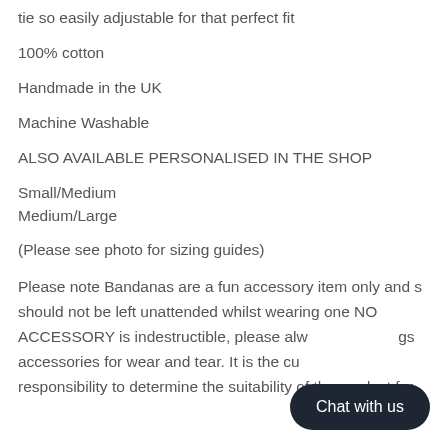tie so easily adjustable for that perfect fit
100% cotton
Handmade in the UK
Machine Washable
ALSO AVAILABLE PERSONALISED IN THE SHOP
Small/Medium
Medium/Large
(Please see photo for sizing guides)
Please note Bandanas are a fun accessory item only and s should not be left unattended whilst wearing one NO ACCESSORY is indestructible, please alw gs accessories for wear and tear. It is the cu responsibility to determine the suitability of the product for